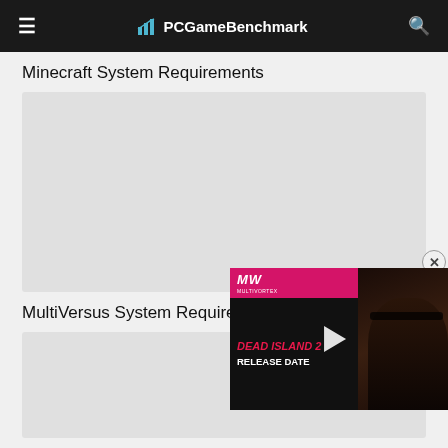PCGameBenchmark
Minecraft System Requirements
[Figure (other): Minecraft System Requirements card placeholder (gray box)]
MultiVersus System Requirements
[Figure (other): MultiVersus System Requirements card placeholder (gray box)]
[Figure (other): Video overlay: Dead Island 2 Release Date video with MW (Multivortex) branding, pink/magenta top bar, play button in center, dark background with person wearing sunglasses on right side]